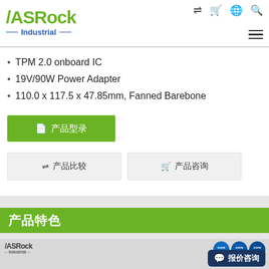ASRock Industrial — navigation header with logo, icons (compare, cart, globe, search, menu)
TPM 2.0 onboard IC
19V/90W Power Adapter
110.0 x 117.5 x 47.85mm, Fanned Barebone
产品型录 (Product Catalog) button
⇌ 产品比较 (Product Compare) | 🛒 产品咨询 (Product Inquiry) buttons
产品特色
[Figure (screenshot): ASRock Industrial product image area with logo and Intel Core i5/i7/i9 badges, and a 报价咨询 (Quote Inquiry) chat button in the bottom right]